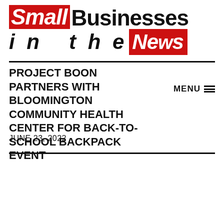[Figure (logo): Small Businesses in the News logo — 'Small' in white italic text on red background, 'Businesses' in bold black, second line 'in the' in bold italic black then 'News' in white italic on red background, with horizontal rules above and below the second line]
PROJECT BOON PARTNERS WITH BLOOMINGTON COMMUNITY HEALTH CENTER FOR BACK-TO-SCHOOL BACKPACK EVENT
MENU ≡
JUNE 23, 2022